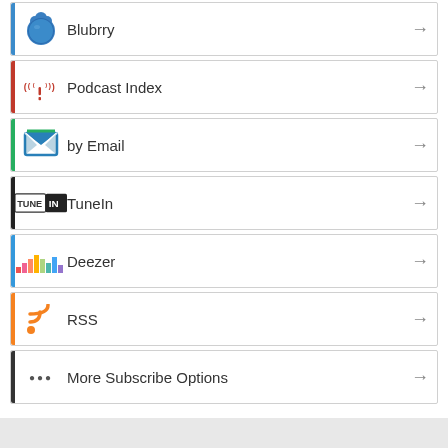Blubrry
Podcast Index
by Email
TuneIn
Deezer
RSS
More Subscribe Options